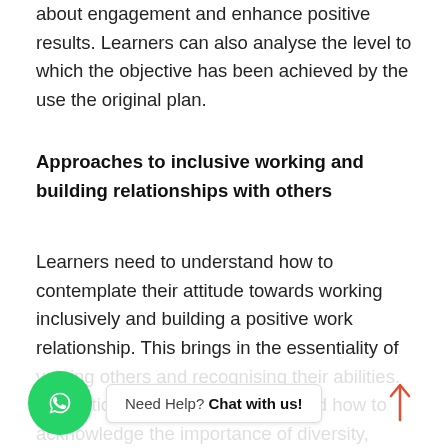different needs, agendas, and ways to be told to bring about engagement and enhance positive results. Learners can also analyse the level to which the objective has been achieved by the use the original plan.
Approaches to inclusive working and building relationships with others
Learners need to understand how to contemplate their attitude towards working inclusively and building a positive work relationship. This brings in the essentiality of valuing others and recognising their abilities. In addition, the learners understand how to acknowledge the importance of diversity, actively listen to dive others, offer support, share information and seeking views from others. Through this, the learners